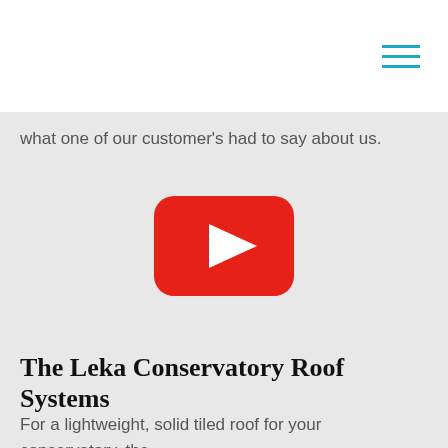what one of our customer's had to say about us.
[Figure (screenshot): YouTube play button icon — red rounded rectangle with white triangle play arrow in center, on a light gray background]
The Leka Conservatory Roof Systems
For a lightweight, solid tiled roof for your conservatory, the